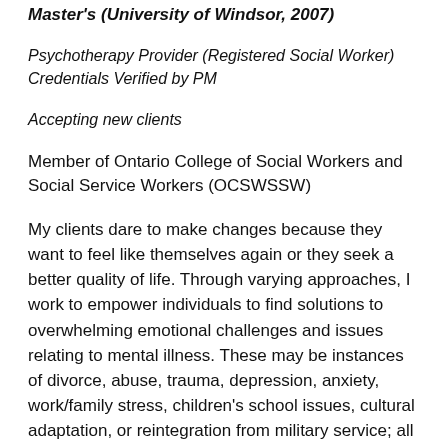Master's (University of Windsor, 2007)
Psychotherapy Provider (Registered Social Worker)
Credentials Verified by PM
Accepting new clients
Member of Ontario College of Social Workers and Social Service Workers (OCSWSSW)
My clients dare to make changes because they want to feel like themselves again or they seek a better quality of life. Through varying approaches, I work to empower individuals to find solutions to overwhelming emotional challenges and issues relating to mental illness. These may be instances of divorce, abuse, trauma, depression, anxiety, work/family stress, children's school issues, cultural adaptation, or reintegration from military service; all areas in which I have professional training and 23 years of Social Work expertise. In addition to being a